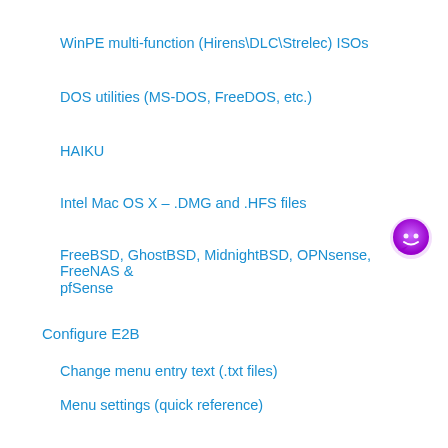WinPE multi-function (Hirens\DLC\Strelec) ISOs
DOS utilities (MS-DOS, FreeDOS, etc.)
HAIKU
Intel Mac OS X – .DMG and .HFS files
FreeBSD, GhostBSD, MidnightBSD, OPNsense, FreeNAS & pfSense
Configure E2B
Change menu entry text (.txt files)
Menu settings (quick reference)
Change menu entry order
Wallpaper
Language
Menu Editor (E2B_Editor.exe)
Add payload files to partition 2 or 3
[Figure (illustration): Purple chat bubble icon with a smiley face inside, positioned in the right side of the page]